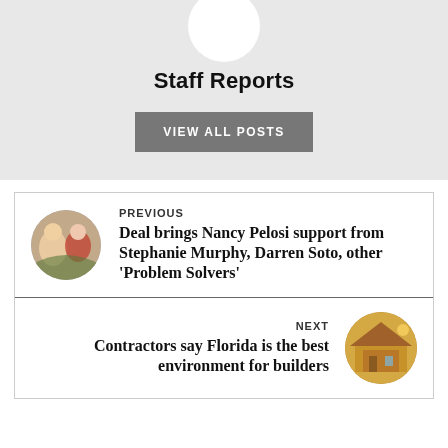Staff Reports
VIEW ALL POSTS
PREVIOUS
Deal brings Nancy Pelosi support from Stephanie Murphy, Darren Soto, other 'Problem Solvers'
NEXT
Contractors say Florida is the best environment for builders